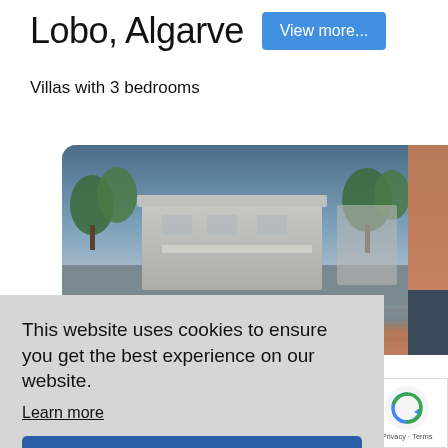Lobo, Algarve
View more...
Villas with 3 bedrooms
[Figure (photo): Exterior photo of a modern villa with flat roof, trees in background, blue sky, and terracotta terrace. Rounded corners on image.]
This website uses cookies to ensure you get the best experience on our website. Learn more
Got it!
[Figure (logo): Google reCAPTCHA badge with spinning arrow logo and 'Privacy · Terms' text]
Villa Cyca